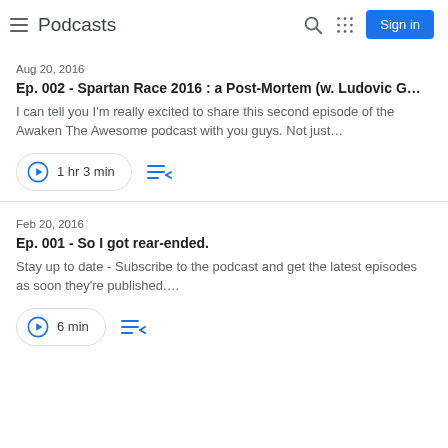Podcasts
Aug 20, 2016
Ep. 002 - Spartan Race 2016 : a Post-Mortem (w. Ludovic G…
I can tell you I'm really excited to share this second episode of the Awaken The Awesome podcast with you guys. Not just…
1 hr 3 min
Feb 20, 2016
Ep. 001 - So I got rear-ended.
Stay up to date - Subscribe to the podcast and get the latest episodes as soon they're published.…
6 min